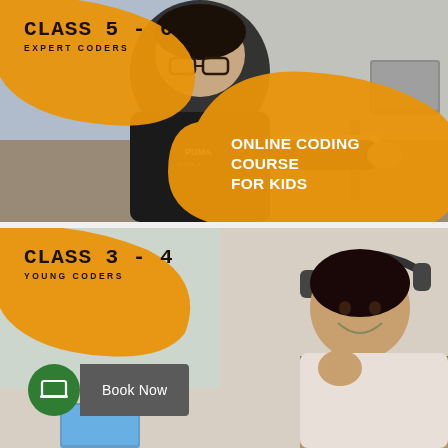[Figure (photo): Top card: Photo of a boy wearing glasses sitting at a desk with a laptop, working on coding. Orange blob overlays on top-left and bottom-right. Text 'CLASS 5 - 6 / EXPERT CODERS' on top-left orange blob. Text 'ONLINE CODING COURSE FOR KIDS' on bottom-right orange blob.]
[Figure (photo): Bottom card: Photo of a girl wearing headphones smiling and giving thumbs up, seated. Orange blob on top-left with text 'CLASS 3 - 4 / YOUNG CODERS'. Green circle with laptop icon and grey 'Book Now' button on bottom left.]